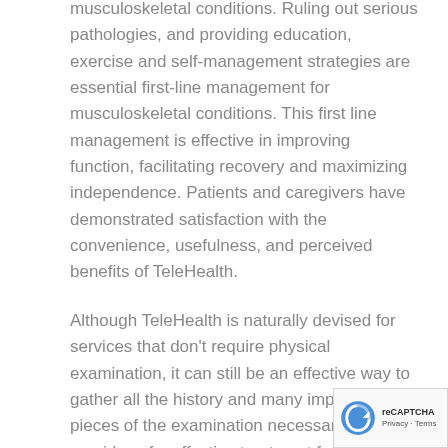musculoskeletal conditions. Ruling out serious pathologies, and providing education, exercise and self-management strategies are essential first-line management for musculoskeletal conditions. This first line management is effective in improving function, facilitating recovery and maximizing independence. Patients and caregivers have demonstrated satisfaction with the convenience, usefulness, and perceived benefits of TeleHealth.
Although TeleHealth is naturally devised for services that don’t require physical examination, it can still be an effective way to gather all the history and many important pieces of the examination necessary to provide safe, effective treatment for many health issues. The history provided by a patient is always one of the most important